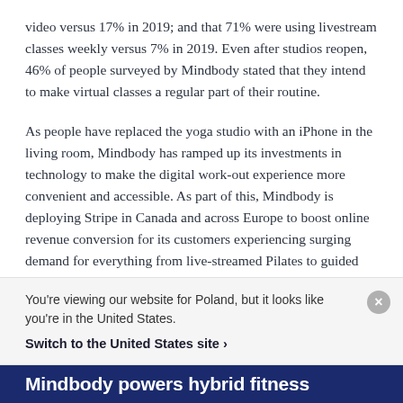video versus 17% in 2019; and that 71% were using livestream classes weekly versus 7% in 2019. Even after studios reopen, 46% of people surveyed by Mindbody stated that they intend to make virtual classes a regular part of their routine.
As people have replaced the yoga studio with an iPhone in the living room, Mindbody has ramped up its investments in technology to make the digital work-out experience more convenient and accessible. As part of this, Mindbody is deploying Stripe in Canada and across Europe to boost online revenue conversion for its customers experiencing surging demand for everything from live-streamed Pilates to guided
You're viewing our website for Poland, but it looks like you're in the United States.
Switch to the United States site ›
Mindbody powers hybrid fitness